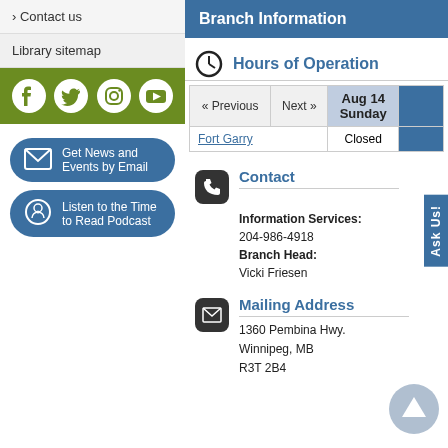> Contact us
Library sitemap
[Figure (infographic): Social media icons bar: Facebook, Twitter, Instagram, YouTube on green background]
Get News and Events by Email
Listen to the Time to Read Podcast
Branch Information
Hours of Operation
| « Previous | Next » | Aug 14 Sunday |  |
| --- | --- | --- | --- |
| Fort Garry |  | Closed |  |
Contact
Information Services:
204-986-4918
Branch Head:
Vicki Friesen
Mailing Address
1360 Pembina Hwy.
Winnipeg, MB
R3T 2B4